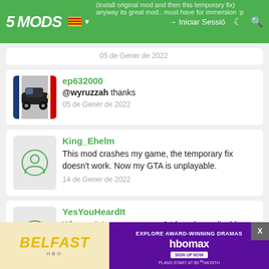5MODS — Iniciar Sessió
(install original mod and then this temporary fix)
Anyway its great mod.. must have for immersion :p
05 de Gener de 2022
ep632000
@wyruzzah thanks
05 de Gener de 2022
King_Ehelm
This mod crashes my game, the temporary fix doesn't work. Now my GTA is unplayable.
14 de Gener de 2022
YesYouHeardIt
Why can't I post comments? I found a replicable and consistent crash scenario on this mod that I would like to report to the author.
[Figure (screenshot): BELFAST HBO Max advertisement banner — Explore Award-Winning Dramas, plans start at $9.99/month]